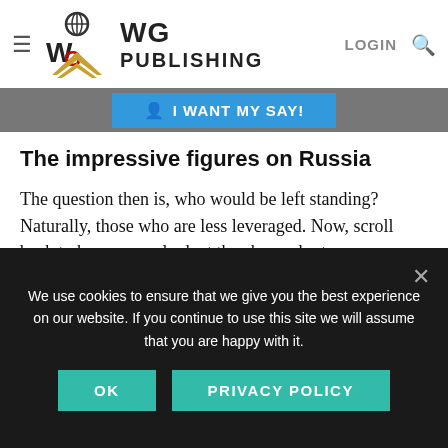WG Publishing — navigation bar with hamburger menu, logo, LOGIN, search icon
much. It will eventually die either way. Most people would prefer the slow corrections, but only with the crash would there come... increasingly... stave off the... and this time around, the financial...
I WANT MY SAY!
The impressive figures on Russia
The question then is, who would be left standing? Naturally, those who are less leveraged. Now, scroll back to have a new look at the above charts on government and household debt. Find the position of Russia there? That's right. Russia is the country with – by far – the least debt, both public and
We use cookies to ensure that we give you the best experience on our website. If you continue to use this site we will assume that you are happy with it.
OK   PRIVACY POLICY